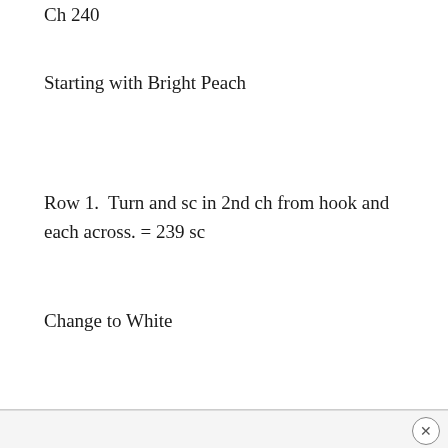Ch 240
Starting with Bright Peach
Row 1.  Turn and sc in 2nd ch from hook and each across. = 239 sc
Change to White
×